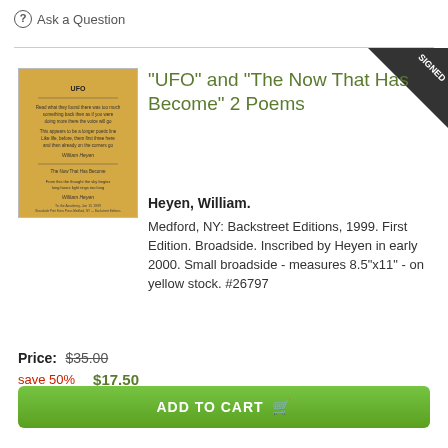? Ask a Question
[Figure (photo): Yellow broadside page with printed poem text]
"UFO" and "The Now That Has Become" 2 Poems
Heyen, William.
Medford, NY: Backstreet Editions, 1999. First Edition. Broadside. Inscribed by Heyen in early 2000. Small broadside - measures 8.5"x11" - on yellow stock. #26797
Price: $35.00
save 50%   $17.50
ADD TO CART